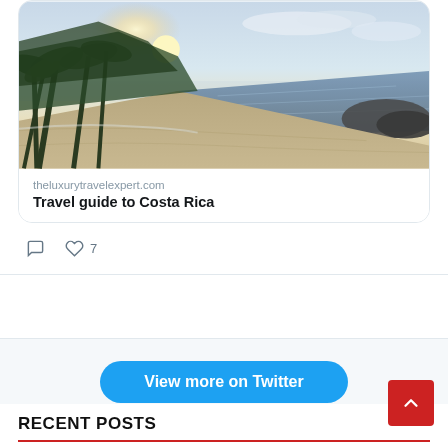[Figure (screenshot): A beach photo showing a tropical coastline at sunset/sunrise with palm trees on the left, ocean waves on the right, sandy beach in foreground, and dramatic sky with clouds]
theluxurytravelexpert.com
Travel guide to Costa Rica
[Figure (other): Tweet action icons: comment bubble and heart with count 7]
View more on Twitter
Learn more about privacy on Twitter
RECENT POSTS